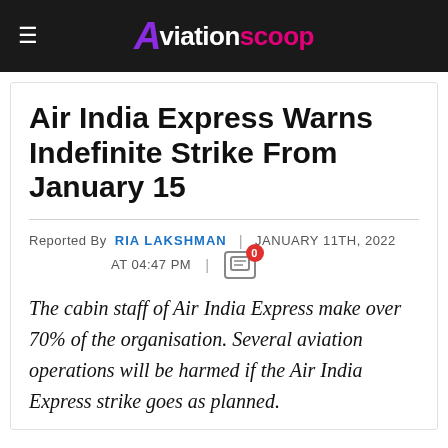AviationScoop
Air India Express Warns Indefinite Strike From January 15
Reported By RIA LAKSHMAN | JANUARY 11TH, 2022 AT 04:47 PM | 0
The cabin staff of Air India Express make over 70% of the organisation. Several aviation operations will be harmed if the Air India Express strike goes as planned.